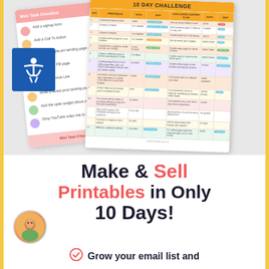[Figure (illustration): Two overlapping document cards: a checklist card on the left (rotated slightly) showing circular colored bullet items and a pink footer, and a '10 Day Challenge' table card on the right showing a colorful multi-row table with orange header. Blue accessibility icon square on the left side.]
Make & Sell Printables in Only 10 Days!
Grow your email list and